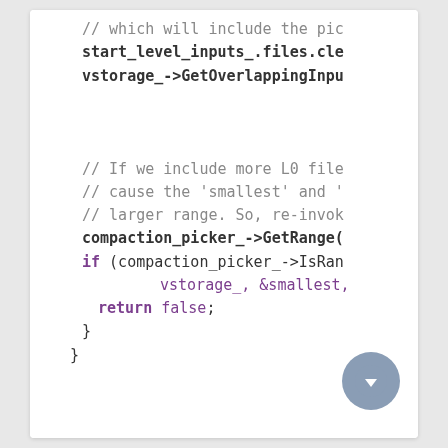[Figure (screenshot): Code snippet showing C++ source code with comments and method calls including start_level_inputs_.files.clear(), vstorage_->GetOverlappingInputs(), comments about L0 files and range, compaction_picker_->GetRange(), if (compaction_picker_->IsRange... with vstorage_, &smallest, return false; and closing braces.]